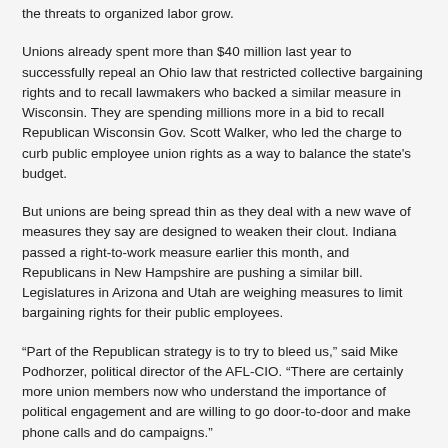the threats to organized labor grow.
Unions already spent more than $40 million last year to successfully repeal an Ohio law that restricted collective bargaining rights and to recall lawmakers who backed a similar measure in Wisconsin. They are spending millions more in a bid to recall Republican Wisconsin Gov. Scott Walker, who led the charge to curb public employee union rights as a way to balance the state's budget.
But unions are being spread thin as they deal with a new wave of measures they say are designed to weaken their clout. Indiana passed a right-to-work measure earlier this month, and Republicans in New Hampshire are pushing a similar bill. Legislatures in Arizona and Utah are weighing measures to limit bargaining rights for their public employees.
“Part of the Republican strategy is to try to bleed us,” said Mike Podhorzer, political director of the AFL-CIO. “There are certainly more union members now who understand the importance of political engagement and are willing to go door-to-door and make phone calls and do campaigns.”
Tim Phillips, president of the conservative anti-tax and anti-regulation group Americans for Prosperity, denied any grand strategy to weaken unions. His group, founded with the support of billionaire brothers Charles and David Koch, spends millions on anti-Obama and anti-union ads across the country.
“It’s not accurate to say there’s some master plan to drain resources,” Phillips said. “Those